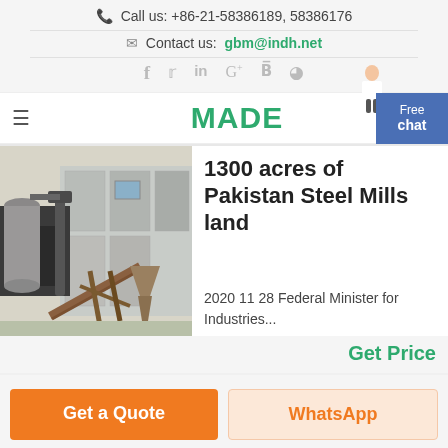Call us: +86-21-58386189, 58386176
Contact us: gbm@indh.net
[Figure (other): Social media icons: Facebook, Twitter, LinkedIn, Google+, Behance, Dribbble]
MADE
[Figure (photo): Industrial steel mill facility exterior with large metal structures, conveyor belts, and dust collection equipment]
1300 acres of Pakistan Steel Mills land
2020 11 28 Federal Minister for Industries...
Get Price
Get a Quote
WhatsApp